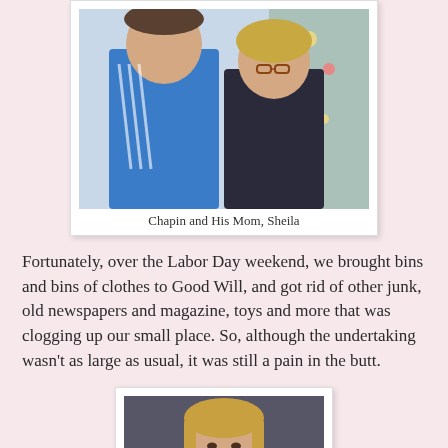[Figure (photo): Photo of Chapin and his Mom Sheila in front of a Christmas tree; Chapin wearing a blue Adidas polo shirt, Sheila with short blond hair and glasses]
Chapin and His Mom, Sheila
Fortunately, over the Labor Day weekend, we brought bins and bins of clothes to Good Will, and got rid of other junk, old newspapers and magazine, toys and more that was clogging up our small place. So, although the undertaking wasn't as large as usual, it was still a pain in the butt.
[Figure (photo): Woman with blonde hair holding a glass of red wine, looking at the camera, in an indoor setting]